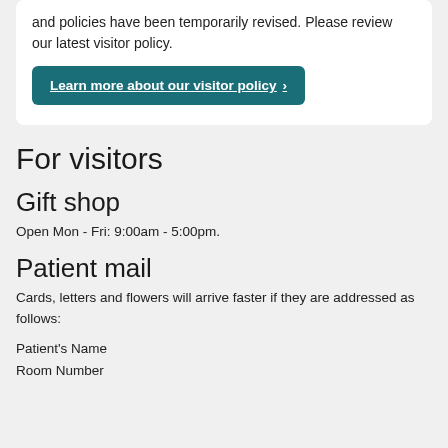and policies have been temporarily revised. Please review our latest visitor policy.
Learn more about our visitor policy ›
For visitors
Gift shop
Open Mon - Fri: 9:00am - 5:00pm.
Patient mail
Cards, letters and flowers will arrive faster if they are addressed as follows:
Patient's Name
Room Number